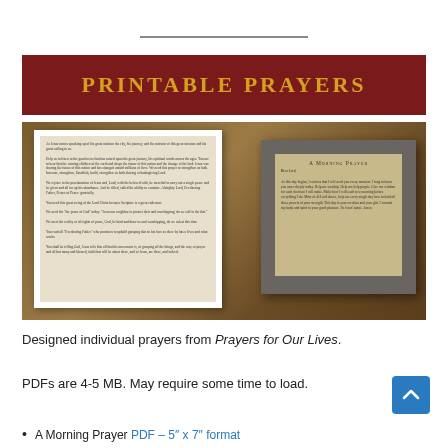[Figure (other): Banner image with dark red background reading PRINTABLE PRAYERS in gold letters]
[Figure (photo): Two framed prayer prints displayed on a wooden surface. Left frame is white with a printed prayer text. Right frame is rustic gray wood with 'A Morning Prayer' printed on aged parchment paper.]
Designed individual prayers from Prayers for Our Lives.
PDFs are 4-5 MB. May require some time to load.
A Morning Prayer PDF – 5″ x 7″ format